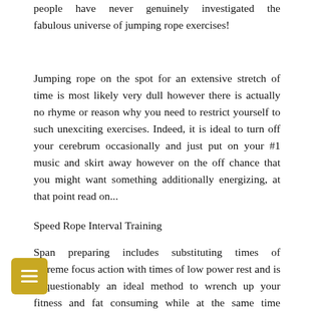people have never genuinely investigated the fabulous universe of jumping rope exercises!
Jumping rope on the spot for an extensive stretch of time is most likely very dull however there is actually no rhyme or reason why you need to restrict yourself to such unexciting exercises. Indeed, it is ideal to turn off your cerebrum occasionally and just put on your #1 music and skirt away however on the off chance that you might want something additionally energizing, at that point read on...
Speed Rope Interval Training
Span preparing includes substituting times of extreme focus action with times of low power rest and is unquestionably an ideal method to wrench up your fitness and fat consuming while at the same time making your exercise more limited